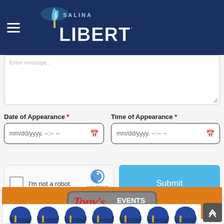[Figure (screenshot): Salina Liberty website header with dark navy background, hamburger menu icon, and Salina Liberty logo with torch and text]
[Figure (screenshot): Web form with textarea, Date of Appearance and Time of Appearance datetime fields, reCAPTCHA checkbox, and Submit button]
[Figure (screenshot): Tony's Pizza Events Center orange advertisement banner]
[Figure (screenshot): Row of navy blue football helmets at bottom of page]